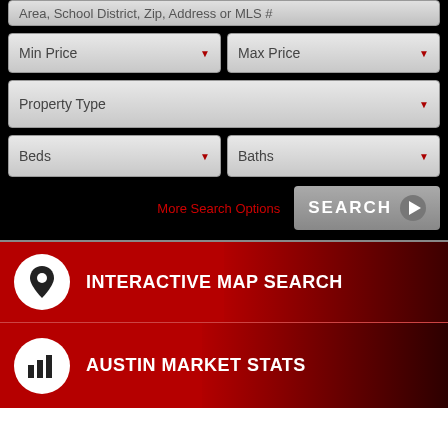[Figure (screenshot): Real estate search form with dropdowns for Min Price, Max Price, Property Type, Beds, Baths, More Search Options link, and SEARCH button on black background]
[Figure (infographic): Red banner with location pin icon and text INTERACTIVE MAP SEARCH with faint map background]
[Figure (infographic): Red banner with bar chart icon and text AUSTIN MARKET STATS with aerial photo background]
[Figure (infographic): Red banner partially showing circle icon and text 'ripping Springs Searches']